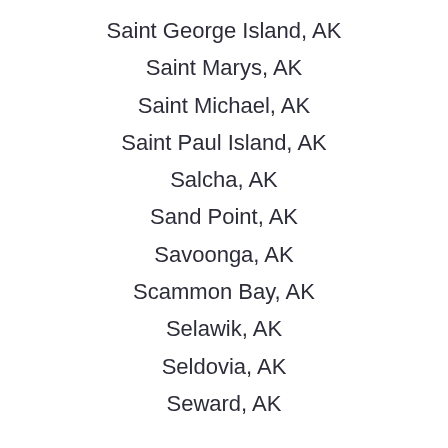Saint George Island, AK
Saint Marys, AK
Saint Michael, AK
Saint Paul Island, AK
Salcha, AK
Sand Point, AK
Savoonga, AK
Scammon Bay, AK
Selawik, AK
Seldovia, AK
Seward, AK